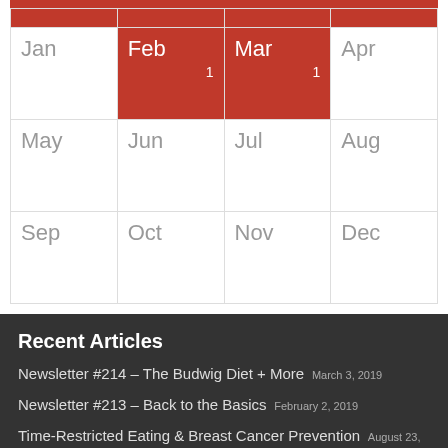|  |  |  |  |
| --- | --- | --- | --- |
| Jan | Feb
1 | Mar
1 | Apr |
| May | Jun | Jul | Aug |
| Sep | Oct | Nov | Dec |
Recent Articles
Newsletter #214 – The Budwig Diet + More  March 3, 2019
Newsletter #213 – Back to the Basics  February 2, 2019
Time-Restricted Eating & Breast Cancer Prevention  August 23, 2018
7 Essentials To Heal Your Body  May 19, 2018